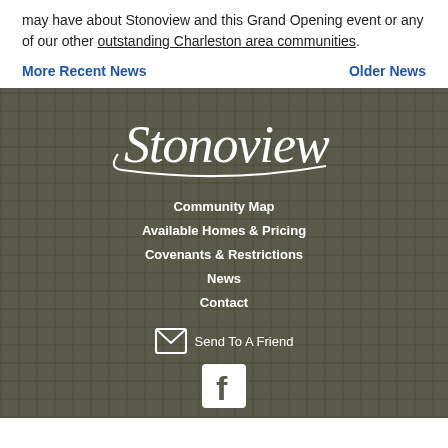may have about Stonoview and this Grand Opening event or any of our other outstanding Charleston area communities.
More Recent News
Older News
[Figure (logo): Stonoview cursive script logo in white on dark background]
Community Map
Available Homes & Pricing
Covenants & Restrictions
News
Contact
Send To A Friend
[Figure (logo): Facebook logo icon in white on dark background]